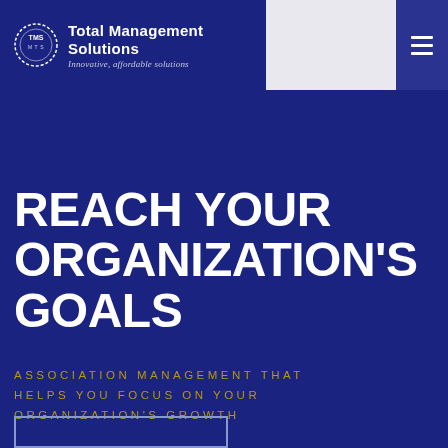Total Management Solutions — Innovative, affordable solutions
REACH YOUR ORGANIZATION'S GOALS
ASSOCIATION MANAGEMENT THAT HELPS YOU FOCUS ON YOUR ORGANIZATION'S GROWTH